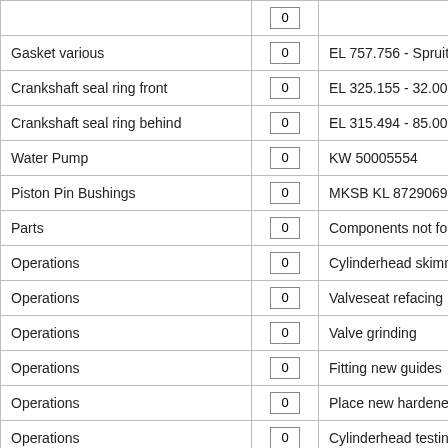| Category | Qty | Description |
| --- | --- | --- |
|  | 0 |  |
| Gasket various | 0 | EL 757.756 - Spruitstu |
| Crankshaft seal ring front | 0 | EL 325.155 - 32.00 x 4 |
| Crankshaft seal ring behind | 0 | EL 315.494 - 85.00 x 1 |
| Water Pump | 0 | KW 50005554 |
| Piston Pin Bushings | 0 | MKSB KL 87290690 - |
| Parts | 0 | Components not found |
| Operations | 0 | Cylinderhead skimmin |
| Operations | 0 | Valveseat refacing |
| Operations | 0 | Valve grinding |
| Operations | 0 | Fitting new guides |
| Operations | 0 | Place new hardened v |
| Operations | 0 | Cylinderhead testing f |
| Operations | 0 | Mounting / Assembly/ |
| Operations | 0 | Valves adjusting (non- |
| Operations | 0 | Block skimming |